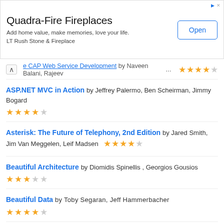[Figure (other): Advertisement banner for Quadra-Fire Fireplaces by LT Rush Stone & Fireplace with an Open button]
e CAP Web Service Development by Naveen Balani, Rajeev ... [partial, clipped] — 4 out of 5 stars
ASP.NET MVC in Action by Jeffrey Palermo, Ben Scheirman, Jimmy Bogard — 4 out of 5 stars
Asterisk: The Future of Telephony, 2nd Edition by Jared Smith, Jim Van Meggelen, Leif Madsen — 4 out of 5 stars
Beautiful Architecture by Diomidis Spinellis, Georgios Gousios — 3 out of 5 stars
Beautiful Data by Toby Segaran, Jeff Hammerbacher — 4 out of 5 stars
Beautiful Security by Andy Oram, John Viega — 4 out of 5 stars